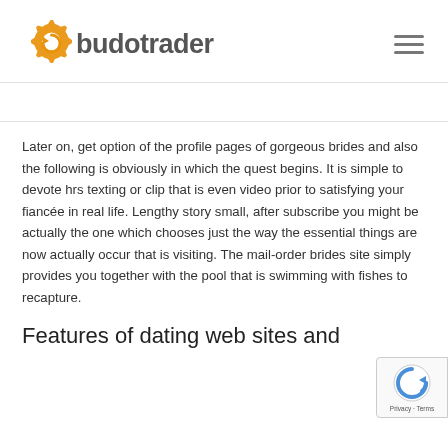[Figure (logo): Budotrader logo with orange gear icon and 'budotrader' text in dark gray]
Later on, get option of the profile pages of gorgeous brides and also the following is obviously in which the quest begins. It is simple to devote hrs texting or clip that is even video prior to satisfying your fiancée in real life. Lengthy story small, after subscribe you might be actually the one which chooses just the way the essential things are now actually occur that is visiting. The mail-order brides site simply provides you together with the pool that is swimming with fishes to recapture.
Features of dating web sites and